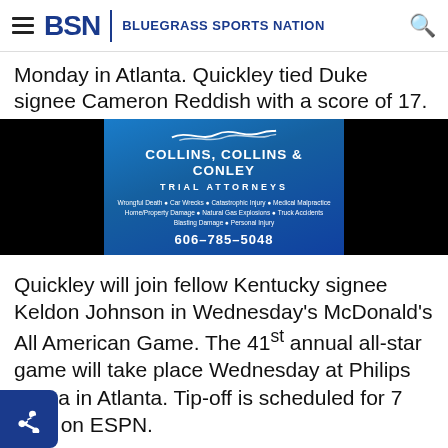BSN | Bluegrass Sports Nation
Monday in Atlanta. Quickley tied Duke signee Cameron Reddish with a score of 17.
[Figure (other): Advertisement for Collins, Collins & Conley Trial Attorneys. Phone: 606-785-5048. Services: Wrongful Death, Car Wrecks, Catastrophic Injury, Medical Malpractice, Home/Property Damage, Natural Gas Explosions, Truck Accidents, Blasting Damage, Personal Injury.]
Quickley will join fellow Kentucky signee Keldon Johnson in Wednesday's McDonald's All American Game. The 41st annual all-star game will take place Wednesday at Philips Arena in Atlanta. Tip-off is scheduled for 7 p.m. on ESPN.